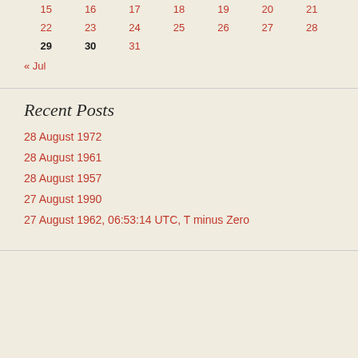| 15 | 16 | 17 | 18 | 19 | 20 | 21 |
| 22 | 23 | 24 | 25 | 26 | 27 | 28 |
| 29 | 30 | 31 |  |  |  |  |
« Jul
Recent Posts
28 August 1972
28 August 1961
28 August 1957
27 August 1990
27 August 1962, 06:53:14 UTC, T minus Zero